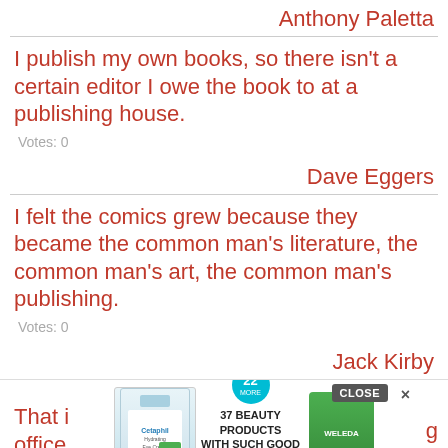Anthony Paletta
I publish my own books, so there isn't a certain editor I owe the book to at a publishing house.
Votes: 0
Dave Eggers
I felt the comics grew because they became the common man's literature, the common man's art, the common man's publishing.
Votes: 0
Jack Kirby
[Figure (other): Advertisement overlay showing beauty products with text '37 BEAUTY PRODUCTS WITH SUCH GOOD REVIEWS YOU MIGHT WANT TO TRY THEM YOURSELF' and a CLOSE button]
That i office in tha
g lding